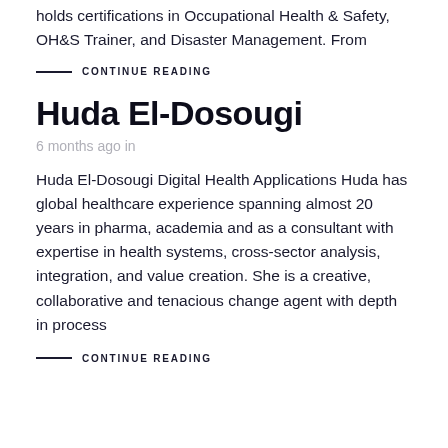holds certifications in Occupational Health & Safety, OH&S Trainer, and Disaster Management. From
CONTINUE READING
Huda El-Dosougi
6 months ago in
Huda El-Dosougi Digital Health Applications Huda has global healthcare experience spanning almost 20 years in pharma, academia and as a consultant with expertise in health systems, cross-sector analysis, integration, and value creation. She is a creative, collaborative and tenacious change agent with depth in process
CONTINUE READING